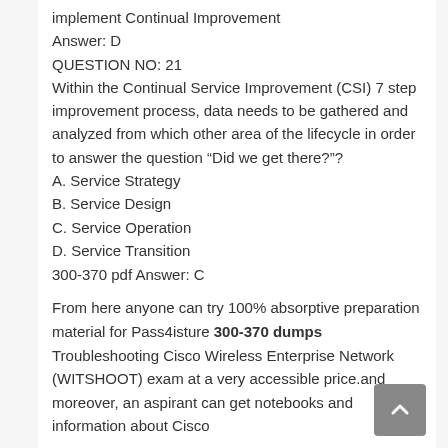implement Continual Improvement
Answer: D
QUESTION NO: 21
Within the Continual Service Improvement (CSI) 7 step improvement process, data needs to be gathered and analyzed from which other area of the lifecycle in order to answer the question “Did we get there?”?
A. Service Strategy
B. Service Design
C. Service Operation
D. Service Transition
300-370 pdf Answer: C
From here anyone can try 100% absorptive preparation material for Pass4isture 300-370 dumps Troubleshooting Cisco Wireless Enterprise Network (WITSHOOT) exam at a very accessible price.and moreover, an aspirant can get notebooks and information about Cisco